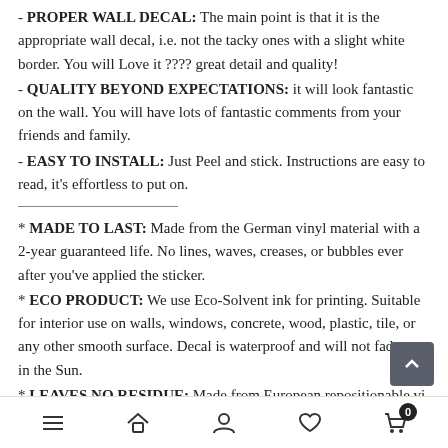- PROPER WALL DECAL: The main point is that it is the appropriate wall decal, i.e. not the tacky ones with a slight white border. You will Love it ???? great detail and quality!
- QUALITY BEYOND EXPECTATIONS: it will look fantastic on the wall. You will have lots of fantastic comments from your friends and family.
- EASY TO INSTALL: Just Peel and stick. Instructions are easy to read, it's effortless to put on.
* MADE TO LAST: Made from the German vinyl material with a 2-year guaranteed life. No lines, waves, creases, or bubbles ever after you've applied the sticker.
* ECO PRODUCT: We use Eco-Solvent ink for printing. Suitable for interior use on walls, windows, concrete, wood, plastic, tile, or any other smooth surface. Decal is waterproof and will not fade out in the Sun.
* LEAVES NO RESIDUE: Made from European repositionable vi… Easy application with no residue upon removal.
* APPLICATION TAPE ALREADY APPLIED: Sticker arrives with the…
Navigation bar with menu, home, user, heart, and cart (0) icons